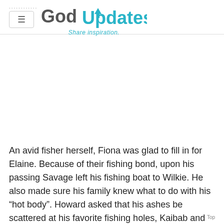GodUpdates Share inspiration.
An avid fisher herself, Fiona was glad to fill in for Elaine. Because of their fishing bond, upon his passing Savage left his fishing boat to Wilkie. He also made sure his family knew what to do with his “hot body”. Howard asked that his ashes be scattered at his favorite fishing holes, Kaibab and Ashurst Lakes.